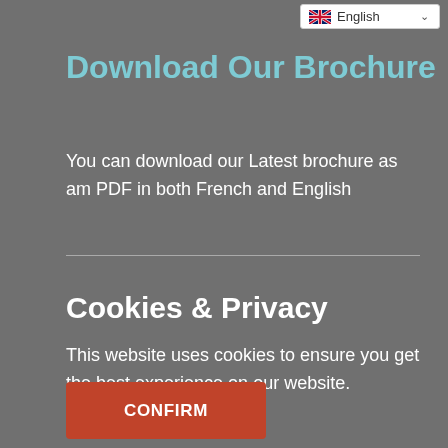English
Download Our Brochure
You can download our Latest brochure as am PDF in both French and English
Cookies & Privacy
This website uses cookies to ensure you get the best experience on our website.
CONFIRM